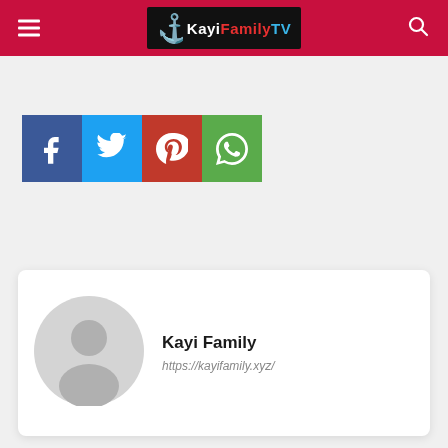KayiFamilyTV - navigation header with menu, logo, and search
[Figure (logo): KayiFamilyTV logo with colored text on black background]
[Figure (infographic): Social share buttons: Facebook (blue), Twitter (cyan), Pinterest (red), WhatsApp (green)]
[Figure (illustration): Author card with grey placeholder avatar, name Kayi Family and website URL]
Kayi Family
https://kayifamily.xyz/